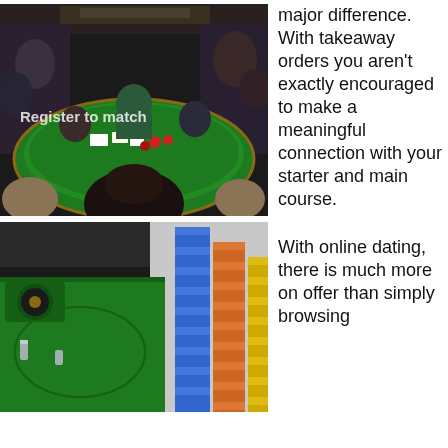[Figure (photo): Casino card game scene with people seated around a green felt table with cards and chips. Watermark text reads 'Register to match'.]
major difference. With takeaway orders you aren't exactly encouraged to make a meaningful connection with your starter and main course.
[Figure (photo): Casino scene showing a green roulette/gaming table with large stacks of casino chips in blue, orange and yellow colors in the background.]
With online dating, there is much more on offer than simply browsing